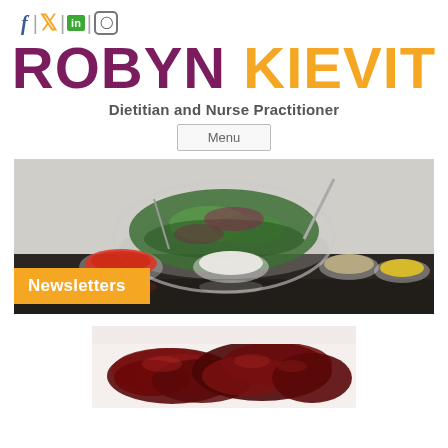f | (twitter) | in | (instagram)
ROBYN KIEVIT
Dietitian and Nurse Practitioner
Menu
[Figure (photo): Glass bowls with salad greens, red peppers, rice/cottage cheese, and dressings on a reflective surface, with a 'Newsletters' label overlay]
[Figure (photo): Close-up of dark red glazed or dried food items, possibly prunes or glazed meat]